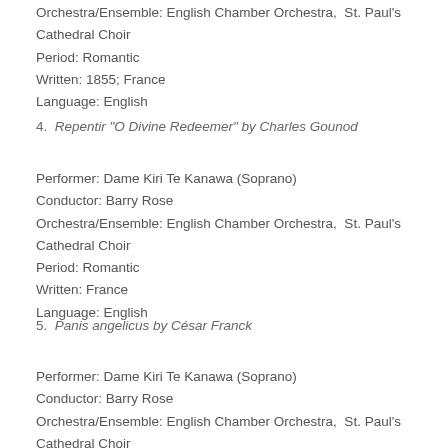Orchestra/Ensemble: English Chamber Orchestra,  St. Paul's Cathedral Choir
Period: Romantic
Written: 1855; France
Language: English
4.  Repentir "O Divine Redeemer" by Charles Gounod
Performer: Dame Kiri Te Kanawa (Soprano)
Conductor: Barry Rose
Orchestra/Ensemble: English Chamber Orchestra,  St. Paul's Cathedral Choir
Period: Romantic
Written: France
Language: English
5.  Panis angelicus by César Franck
Performer: Dame Kiri Te Kanawa (Soprano)
Conductor: Barry Rose
Orchestra/Ensemble: English Chamber Orchestra,  St. Paul's Cathedral Choir